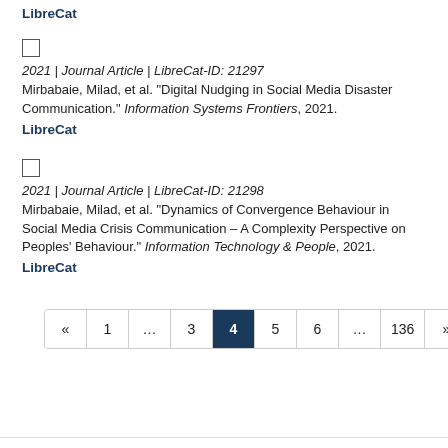LibreCat
2021 | Journal Article | LibreCat-ID: 21297
Mirbabaie, Milad, et al. "Digital Nudging in Social Media Disaster Communication." Information Systems Frontiers, 2021.
LibreCat
2021 | Journal Article | LibreCat-ID: 21298
Mirbabaie, Milad, et al. "Dynamics of Convergence Behaviour in Social Media Crisis Communication – A Complexity Perspective on Peoples' Behaviour." Information Technology & People, 2021.
LibreCat
« 1 … 3 4 5 6 … 136 »